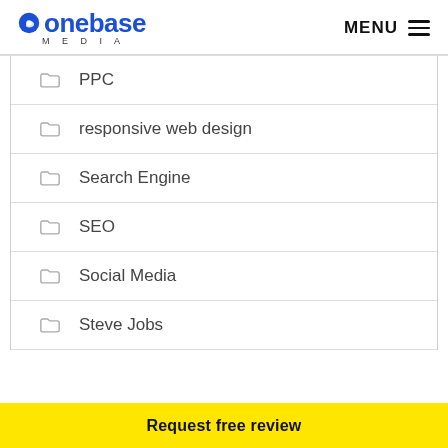onebase MEDIA   MENU
PPC
responsive web design
Search Engine
SEO
Social Media
Steve Jobs
Request free review